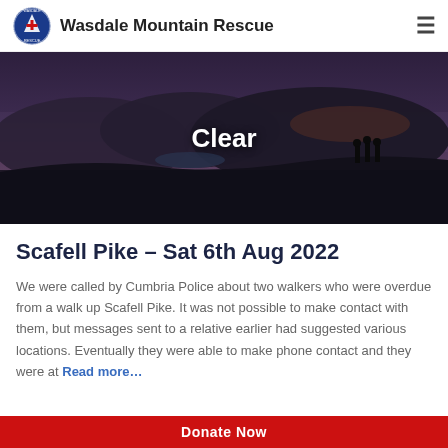Wasdale Mountain Rescue
[Figure (photo): Mountain landscape at dusk/dawn with dark silhouetted hills and figures walking on a ridge, moody purple-grey sky. Text overlay: 'Clear']
Scafell Pike – Sat 6th Aug 2022
We were called by Cumbria Police about two walkers who were overdue from a walk up Scafell Pike. It was not possible to make contact with them, but messages sent to a relative earlier had suggested various locations. Eventually they were able to make phone contact and they were at Read more…
Donate Now